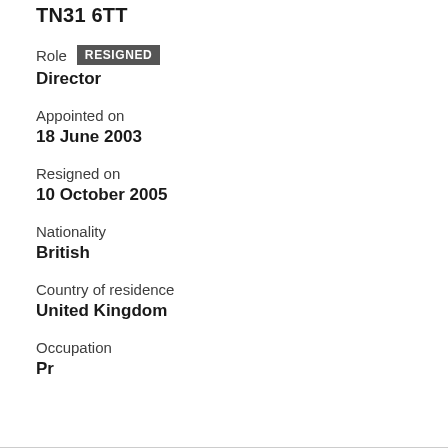TN31 6TT
Role RESIGNED
Director
Appointed on
18 June 2003
Resigned on
10 October 2005
Nationality
British
Country of residence
United Kingdom
Occupation
Pr